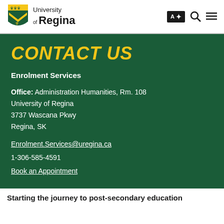[Figure (logo): University of Regina logo with shield crest and wordmark]
CONTACT US
Enrolment Services
Office: Administration Humanities, Rm. 108
University of Regina
3737 Wascana Pkwy
Regina, SK
Enrolment.Services@uregina.ca
1-306-585-4591
Book an Appointment
Starting the journey to post-secondary education